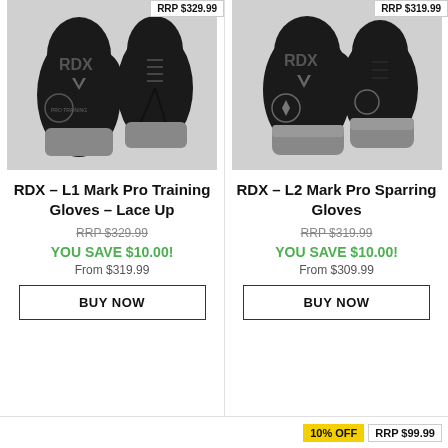[Figure (photo): RDX L1 Mark Pro Training Gloves Lace Up - black and grey boxing gloves pair, laced up]
RRP $329.99
RDX - L1 Mark Pro Training Gloves - Lace Up
RRP $329.99
YOU SAVE $10.00!
From $319.99
BUY NOW
[Figure (photo): RDX L2 Mark Pro Sparring Gloves - black and grey boxing gloves pair with velcro strap]
RRP $319.99
RDX - L2 Mark Pro Sparring Gloves
RRP $319.99
YOU SAVE $10.00!
From $309.99
BUY NOW
10% OFF
RRP $99.99